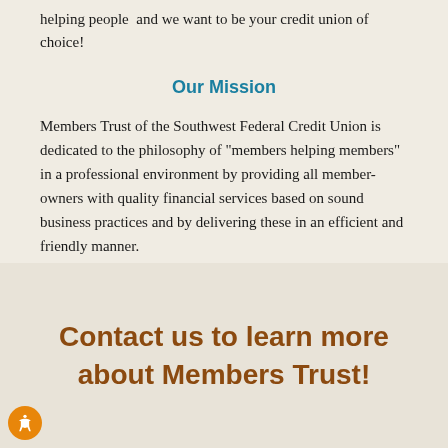helping people  and we want to be your credit union of choice!
Our Mission
Members Trust of the Southwest Federal Credit Union is dedicated to the philosophy of "members helping members" in a professional environment by providing all member-owners with quality financial services based on sound business practices and by delivering these in an efficient and friendly manner.
Contact us to learn more about Members Trust!